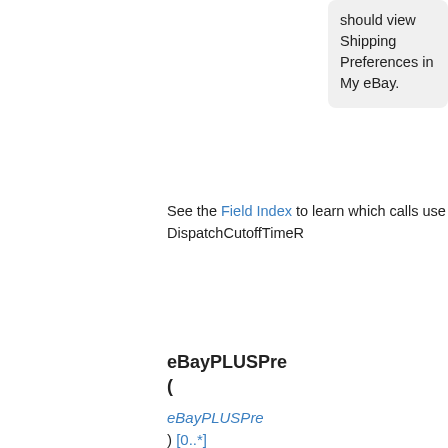should view Shipping Preferences in My eBay.
See the Field Index to learn which calls use DispatchCutoffTimeR
eBayPLUSPre (
eBayPLUSPre
) [0..*]